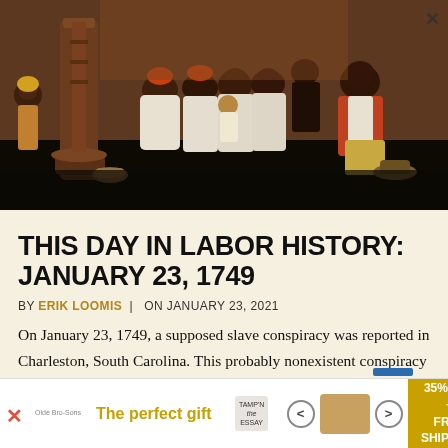[Figure (illustration): Historical painting depicting a group of African American enslaved people, men women and children, gathered together in an interior setting with a large stove or post in the background. The figures are dressed in period clothing with white garments and colorful accents.]
THIS DAY IN LABOR HISTORY: JANUARY 23, 1749
BY ERIK LOOMIS  |  ON JANUARY 23, 2021
On January 23, 1749, a supposed slave conspiracy was reported in Charleston, South Carolina. This probably nonexistent conspiracy is a good window into the complexities of the slave labor system and t